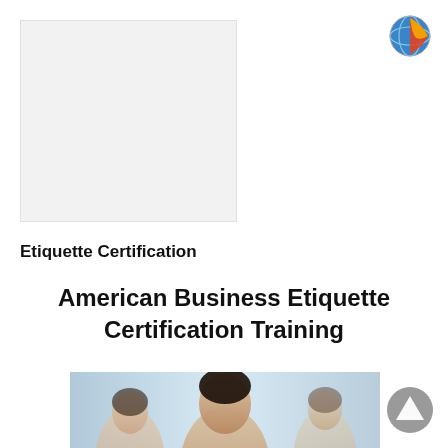[Figure (photo): Large light-grey placeholder image box in upper left]
[Figure (logo): Colorful globe/world logo icon in upper right corner]
Etiquette Certification
American Business Etiquette Certification Training
[Figure (photo): Photo of professional woman with dark hair in foreground, blurred colleagues behind her in a business setting]
[Figure (other): Grey circular play/up arrow button in bottom right corner]